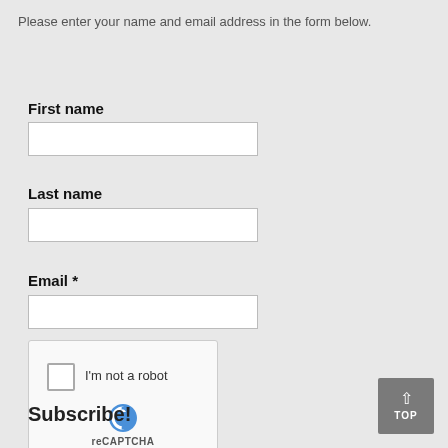Please enter your name and email address in the form below.
First name
Last name
Email *
[Figure (other): reCAPTCHA widget with checkbox labeled 'I'm not a robot', reCAPTCHA logo, Privacy and Terms links]
Subscribe!